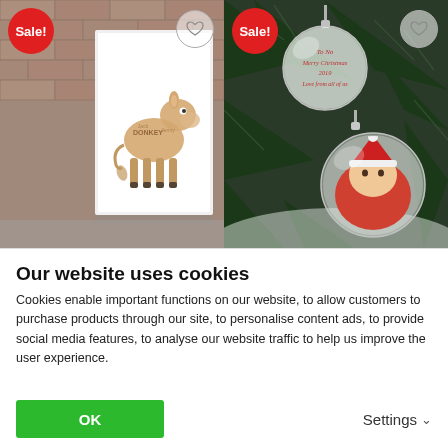[Figure (photo): Left product image: a framed donkey word art print leaning against a brick wall, with a red 'Sale!' badge in the top-left and a heart wishlist button in the top-right.]
[Figure (photo): Right product image: two Christmas baubles hanging on a pine tree — one glass bauble with personalised text inscription, one with a baby photo in a Santa hat — with a red 'Sale!' badge and a heart wishlist button.]
Our website uses cookies
Cookies enable important functions on our website, to allow customers to purchase products through our site, to personalise content ads, to provide social media features, to analyse our website traffic to help us improve the user experience.
OK
Settings